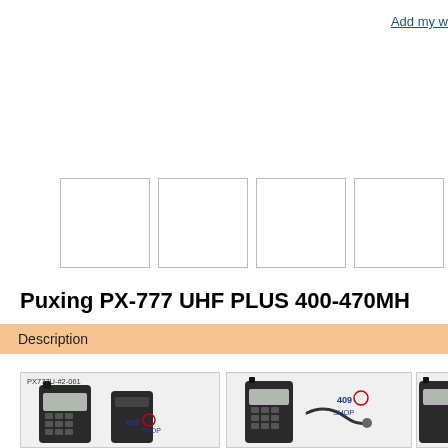Add my w
[Figure (other): Four blank thumbnail image boxes in a row]
Puxing PX-777 UHF PLUS 400-470MH
Description
[Figure (photo): Product photo showing Puxing PX-777U radio with battery and accessories, labeled PX777U-#2-061, from 409Shop]
[Figure (photo): Product photo showing Puxing PX-777 radio with cable accessory, 409Shop logo]
[Figure (photo): Partial product photo showing Puxing PX-777 radio with cable, cropped at right edge]